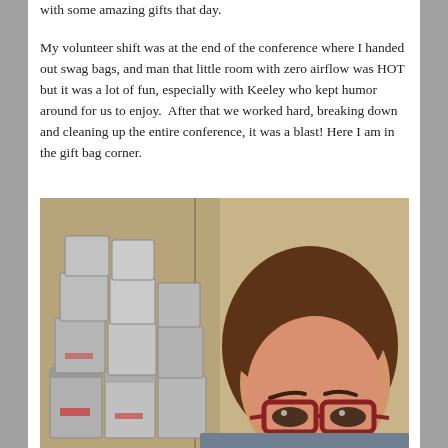with some amazing gifts that day.
My volunteer shift was at the end of the conference where I handed out swag bags, and man that little room with zero airflow was HOT but it was a lot of fun, especially with Keeley who kept humor around for us to enjoy.  After that we worked hard, breaking down and cleaning up the entire conference, it was a blast! Here I am in the gift bag corner.
[Figure (photo): A selfie of a woman with glasses and brown hair, standing in front of stacked silver gift/swag bags piled in a corner of a room with beige walls.]